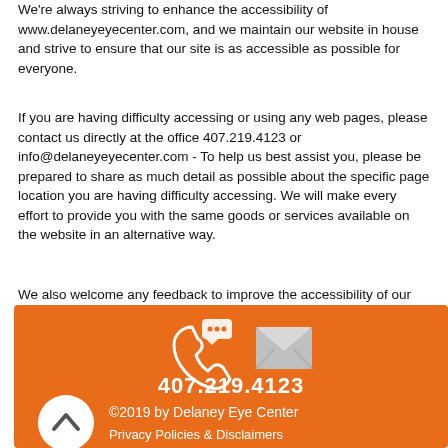We're always striving to enhance the accessibility of www.delaneyeyecenter.com, and we maintain our website in house and strive to ensure that our site is as accessible as possible for everyone.
If you are having difficulty accessing or using any web pages, please contact us directly at the office 407.219.4123 or info@delaneyeyecenter.com - To help us best assist you, please be prepared to share as much detail as possible about the specific page location you are having difficulty accessing. We will make every effort to provide you with the same goods or services available on the website in an alternative way.
We also welcome any feedback to improve the accessibility of our website.
[Figure (infographic): Orange footer section with phone icon, mail icon, phone number 407.219.4123, copyright text and privacy policies link, and a white circle up-arrow button.]